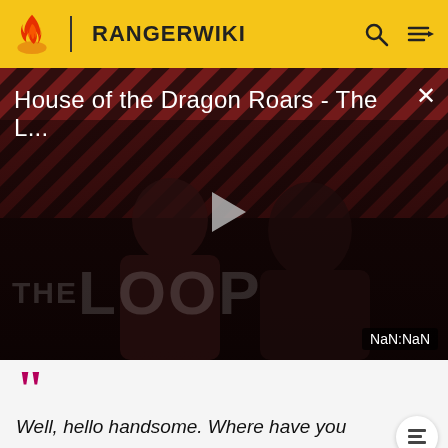RANGERWIKI
[Figure (screenshot): Video thumbnail for 'House of the Dragon Roars - The L...' with play button, striped background, two people silhouetted, THE LOOP text, and NaN:NaN timestamp]
Well, hello handsome. Where have you been hiding yourself?
MISS CHIEF'S FIRST WORDS TO RITO.